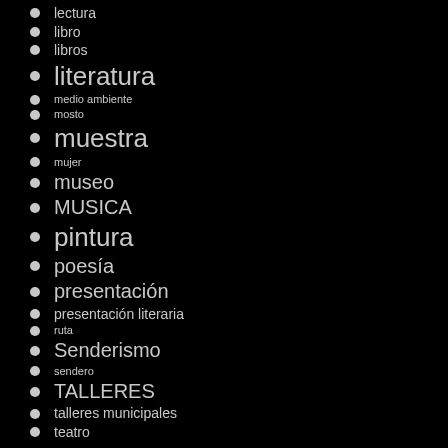lectura
libro
libros
literatura
medio ambiente
mosto
muestra
mujer
museo
MUSICA
pintura
poesía
presentación
presentación literaria
ruta
Senderismo
sendero
TALLERES
talleres municipales
teatro